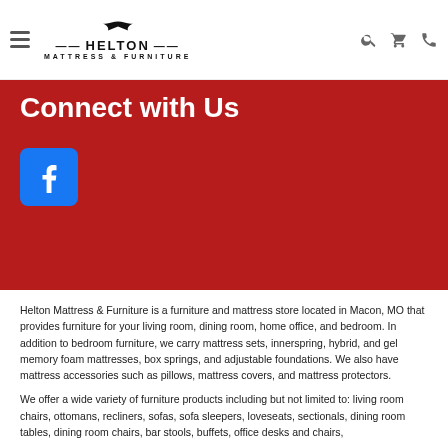Helton Mattress & Furniture — navigation header with hamburger menu, logo, search, cart, and phone icons
Connect with Us
[Figure (logo): Facebook icon button (blue square with white 'f' logo)]
Helton Mattress & Furniture is a furniture and mattress store located in Macon, MO that provides furniture for your living room, dining room, home office, and bedroom. In addition to bedroom furniture, we carry mattress sets, innerspring, hybrid, and gel memory foam mattresses, box springs, and adjustable foundations. We also have mattress accessories such as pillows, mattress covers, and mattress protectors.
We offer a wide variety of furniture products including but not limited to: living room chairs, ottomans, recliners, sofas, sofa sleepers, loveseats, sectionals, dining room tables, dining room chairs, bar stools, buffets, office desks and chairs,